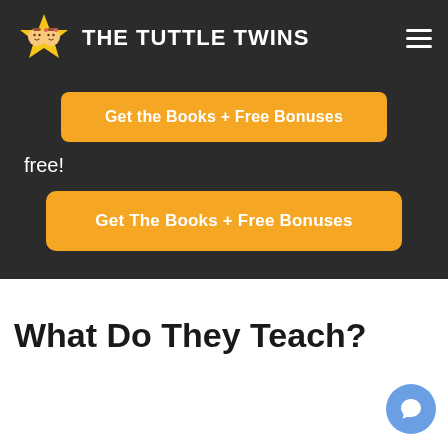THE TUTTLE TWINS
Get the Books + Free Bonuses
free!
Get The Books + Free Bonuses
What Do They Teach?